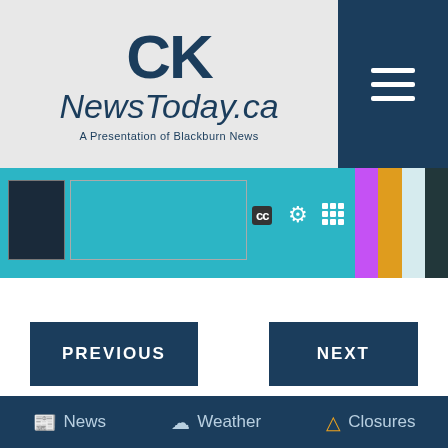CK NewsToday.ca — A Presentation of Blackburn News
[Figure (screenshot): Video player strip showing colorful people/presenters with CC, gear, and grid icons, on teal background]
PREVIOUS
NEXT
[Figure (screenshot): Advertisement banner: Got pests? Call the pros]
News   Weather   Closures